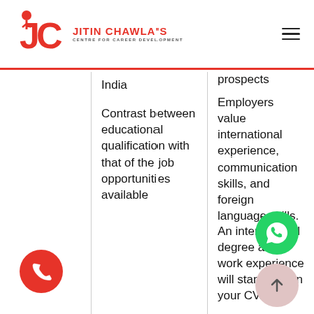Jitin Chawla's Centre for Career Development
|  | Study Abroad Disadvantages | Study Abroad Advantages |
| --- | --- | --- |
|  | India

Contrast between educational qualification with that of the job opportunities available | prospects

Employers value international experience, communication skills, and foreign language skills. An international degree and work experience will stand out on your CV.

Stand out from other job candidates with |